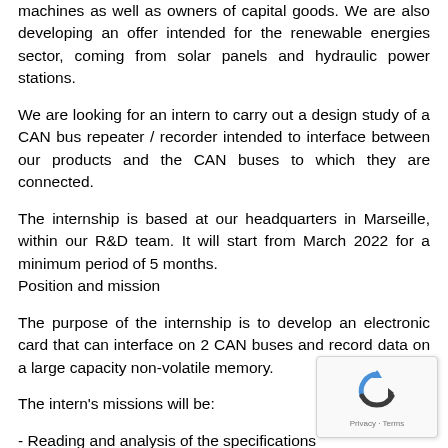machines as well as owners of capital goods. We are also developing an offer intended for the renewable energies sector, coming from solar panels and hydraulic power stations.
We are looking for an intern to carry out a design study of a CAN bus repeater / recorder intended to interface between our products and the CAN buses to which they are connected.
The internship is based at our headquarters in Marseille, within our R&D team. It will start from March 2022 for a minimum period of 5 months.
Position and mission
The purpose of the internship is to develop an electronic card that can interface on 2 CAN buses and record data on a large capacity non-volatile memory.
The intern's missions will be:
- Reading and analysis of the specifications